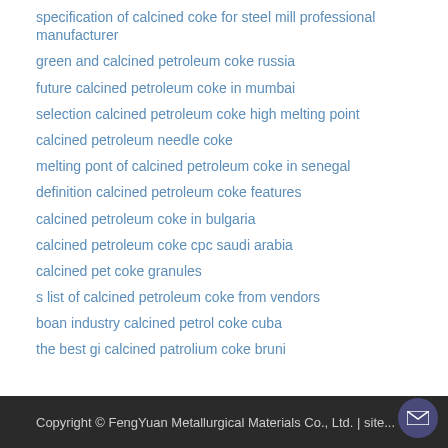specification of calcined coke for steel mill professional manufacturer
green and calcined petroleum coke russia
future calcined petroleum coke in mumbai
selection calcined petroleum coke high melting point
calcined petroleum needle coke
melting pont of calcined petroleum coke in senegal
definition calcined petroleum coke features
calcined petroleum coke in bulgaria
calcined petroleum coke cpc saudi arabia
calcined pet coke granules
s list of calcined petroleum coke from vendors
boan industry calcined petrol coke cuba
the best gi calcined patrolium coke bruni
Copyright © FengYuan Metallurgical Materials Co., Ltd. | site...